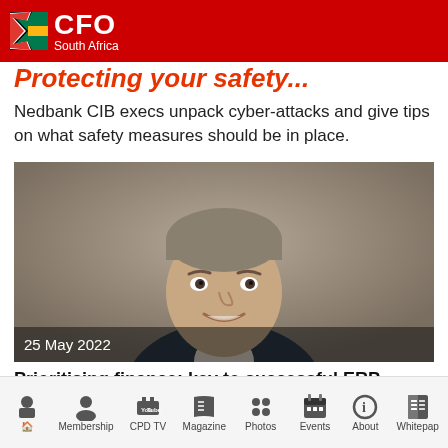CFO South Africa
Prioritising finance: key to successful ERP
Nedbank CIB execs unpack cyber-attacks and give tips on what safety measures should be in place.
[Figure (photo): Headshot of a man in a dark suit, smiling, with date overlay '25 May 2022' at bottom left]
Prioritising finance: key to successful ERP
Decision Inc's Desmond Struwig says finance leaders
Home | Membership | CPD TV | Magazine | Photos | Events | About | Whitepaper